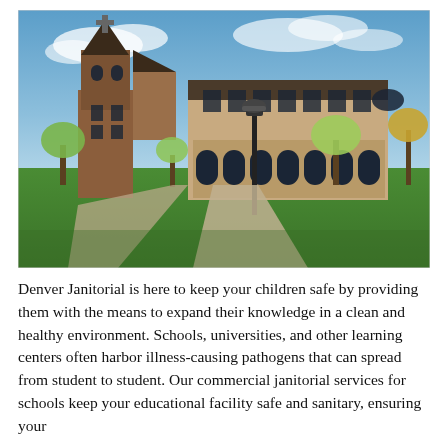[Figure (photo): Exterior photo of a university or school campus building. Features a tall brick bell tower on the left with a cross at the top, connected to a large multi-story brick academic building with arched windows along the lower level. A street lamp is in the foreground, along with green lawns, walkways, and young trees under a partly cloudy blue sky.]
Denver Janitorial is here to keep your children safe by providing them with the means to expand their knowledge in a clean and healthy environment. Schools, universities, and other learning centers often harbor illness-causing pathogens that can spread from student to student. Our commercial janitorial services for schools keep your educational facility safe and sanitary, ensuring your